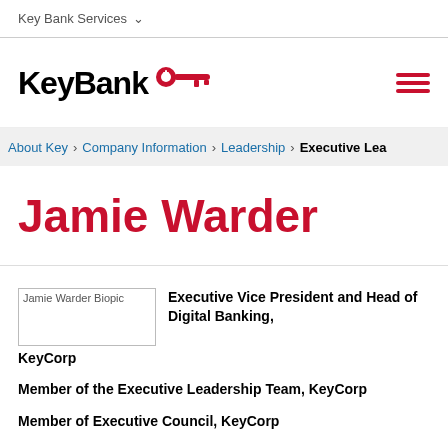Key Bank Services
[Figure (logo): KeyBank logo with red key icon and wordmark]
About Key > Company Information > Leadership > Executive Lead
Jamie Warder
[Figure (photo): Jamie Warder Biopic placeholder image]
Executive Vice President and Head of Digital Banking, KeyCorp
Member of the Executive Leadership Team, KeyCorp
Member of Executive Council, KeyCorp